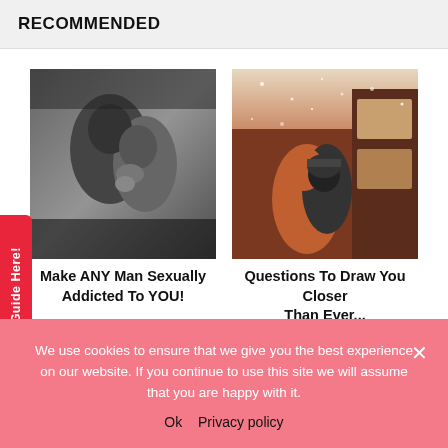RECOMMENDED
[Figure (photo): Black and white photo of a couple in an intimate embrace]
Make ANY Man Sexually Addicted To YOU!
[Figure (photo): Color photo of a couple hugging outside in snowy weather]
Questions To Draw You Closer Than Ever...
FREE Dating Guide Here!
We use cookies to ensure that we give you the best experience on our website. If you continue to use this site we will assume that you are happy with it.
Ok  Privacy policy